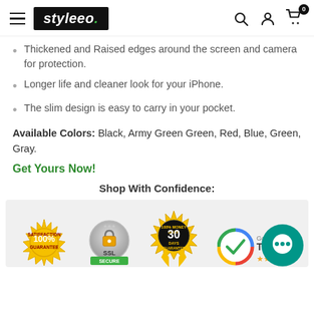styleeo.
Thickened and Raised edges around the screen and camera for protection.
Longer life and cleaner look for your iPhone.
The slim design is easy to carry in your pocket.
Available Colors: Black, Army Green Green, Red, Blue, Green, Gray.
Get Yours Now!
Shop With Confidence:
[Figure (infographic): Trust badges row: 100% Satisfaction Guarantee seal, SSL security badge, 100% Money Back 30 Days Guarantee seal, Google Trusted store badge with five stars, and a green chat bubble icon.]